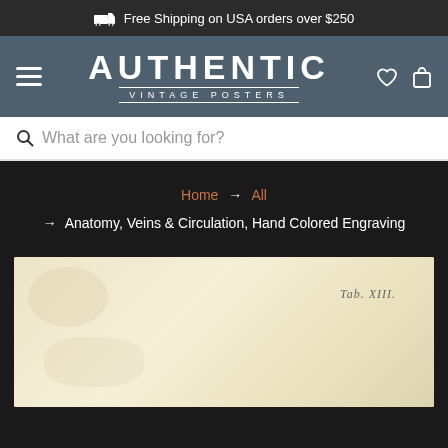Free Shipping on USA orders over $250
[Figure (logo): Authentic Vintage Posters logo with hamburger menu, heart icon, and bag icon on a slate blue header background]
What are you looking for?
Home → All → Anatomy, Veins & Circulation, Hand Colored Engraving
[Figure (photo): Partial view of a vintage hand colored engraving on aged cream/beige paper with 'Tab. XIII.' inscription visible in the upper right area]